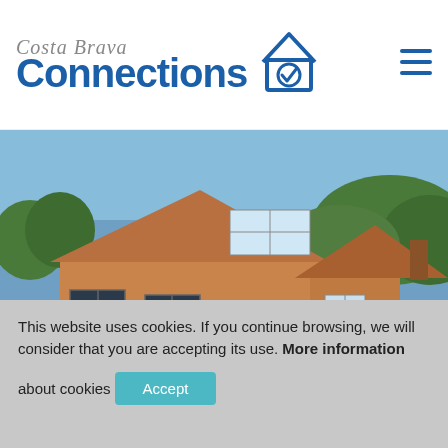[Figure (logo): Costa Brava Connections logo with house/checkmark icon in blue]
[Figure (photo): A Spanish villa with terracotta tile roof, adjacent swimming pool with blue water, and white sun loungers on green lawn in the foreground. Hills with trees in the background.]
This website uses cookies. If you continue browsing, we will consider that you are accepting its use. More information about cookies Accept